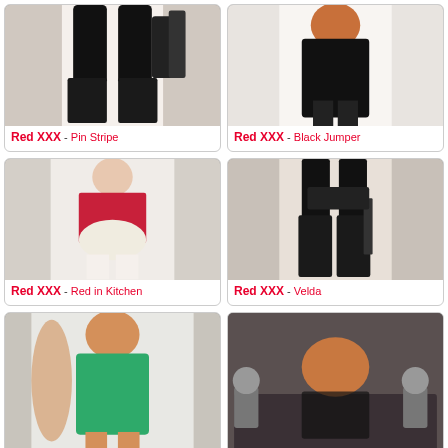[Figure (photo): Person wearing black latex thigh-high boots and white outfit with black gloves]
Red XXX - Pin Stripe
[Figure (photo): Person with red hair wearing a black outfit]
Red XXX - Black Jumper
[Figure (photo): Person wearing a red polka dot dress with white stockings in kitchen]
Red XXX - Red in Kitchen
[Figure (photo): Person wearing black latex thigh-high boots and corset with whip]
Red XXX - Velda
[Figure (photo): Person with red hair wearing a green latex dress]
[Figure (photo): Person with red hair in black lingerie on bed]